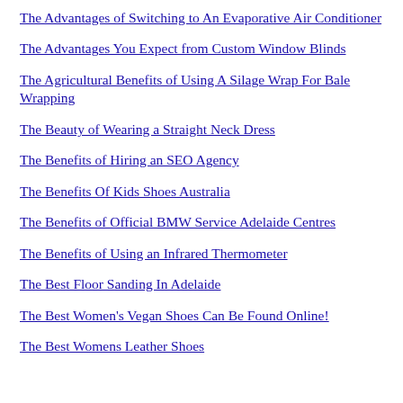The Advantages of Switching to An Evaporative Air Conditioner
The Advantages You Expect from Custom Window Blinds
The Agricultural Benefits of Using A Silage Wrap For Bale Wrapping
The Beauty of Wearing a Straight Neck Dress
The Benefits of Hiring an SEO Agency
The Benefits Of Kids Shoes Australia
The Benefits of Official BMW Service Adelaide Centres
The Benefits of Using an Infrared Thermometer
The Best Floor Sanding In Adelaide
The Best Women's Vegan Shoes Can Be Found Online!
The Best Womens Leather Shoes